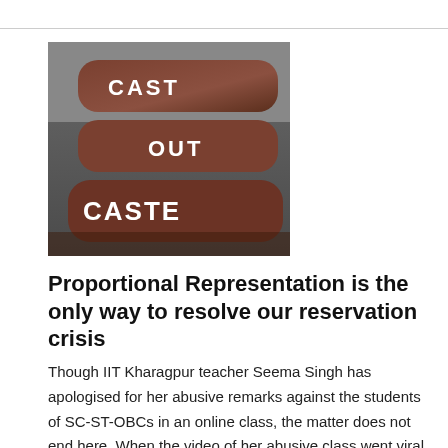[Figure (photo): Close-up photo of a hand with fingers held together. Written in white paint on the fingers are the words 'CAST OUT CASTE'.]
Proportional Representation is the only way to resolve our reservation crisis
Though IIT Kharagpur teacher Seema Singh has apologised for her abusive remarks against the students of SC-ST-OBCs in an online class, the matter does not end here. When the video of her abusive class went viral, I thought whether she was a teacher at the prestigious institution or an old caste prejudiced head master in some nondescript part of the [Read More...]